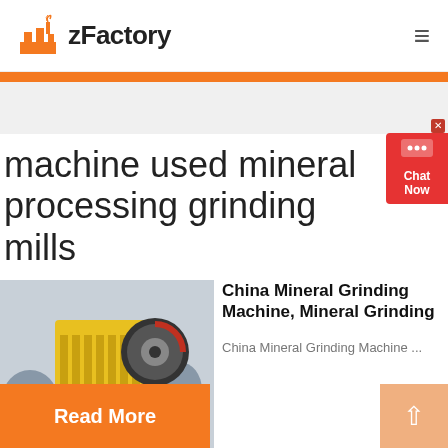zFactory
machine used mineral processing grinding mills
[Figure (photo): Yellow industrial jaw crusher machine on blue supports in a factory setting, with LIMING watermark visible]
China Mineral Grinding Machine, Mineral Grinding
China Mineral Grinding Machine ...
Read More
[Figure (other): Chat Now widget in red on right edge]
[Figure (other): Scroll to top arrow button in light orange bottom right]